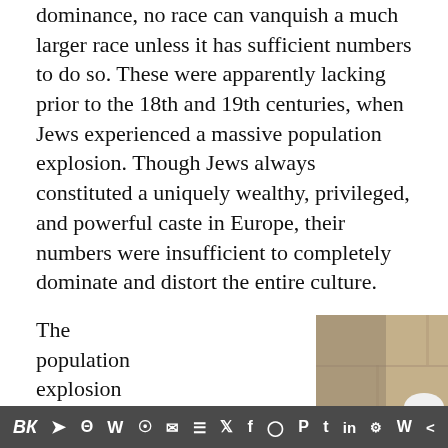dominance, no race can vanquish a much larger race unless it has sufficient numbers to do so. These were apparently lacking prior to the 18th and 19th centuries, when Jews experienced a massive population explosion. Though Jews always constituted a uniquely wealthy, privileged, and powerful caste in Europe, their numbers were insufficient to completely dominate and distort the entire culture.
The population explosion coincided with an internal
[Figure (photo): A person dressed in white papal vestments and white zucchetto, photographed in profile, appearing to be at a stone wall (possibly the Western Wall). The background shows a stone wall texture.]
Social media sharing icons: VK, Telegram, Reddit, WordPress, WhatsApp, Email, Layers, Twitter, Facebook, Instagram, Pinterest, Tumblr, LinkedIn, Share, Wikiwand, Share